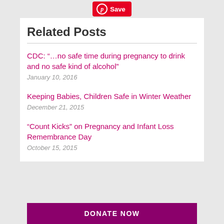[Figure (other): Pinterest Save button at top center]
Related Posts
CDC: “…no safe time during pregnancy to drink and no safe kind of alcohol”
January 10, 2016
Keeping Babies, Children Safe in Winter Weather
December 21, 2015
“Count Kicks” on Pregnancy and Infant Loss Remembrance Day
October 15, 2015
DONATE NOW